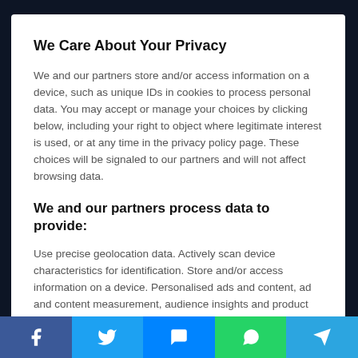We Care About Your Privacy
We and our partners store and/or access information on a device, such as unique IDs in cookies to process personal data. You may accept or manage your choices by clicking below, including your right to object where legitimate interest is used, or at any time in the privacy policy page. These choices will be signaled to our partners and will not affect browsing data.
We and our partners process data to provide:
Use precise geolocation data. Actively scan device characteristics for identification. Store and/or access information on a device. Personalised ads and content, ad and content measurement, audience insights and product development.
List of Partners (vendors)
Show Purposes
I Accept